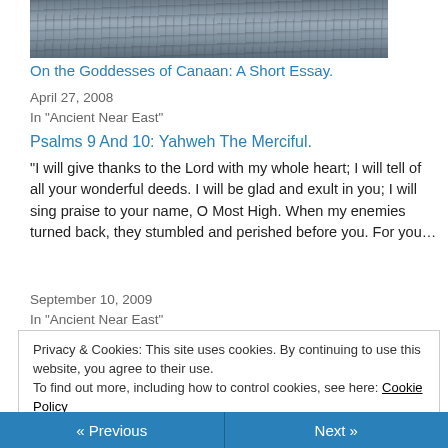[Figure (photo): Partial view of ancient cuneiform clay tablet with inscribed markings]
On the Goddesses of Canaan: A Short Essay.
April 27, 2008
In "Ancient Near East"
Psalms 9 And 10: Yahweh The Merciful.
“I will give thanks to the Lord with my whole heart; I will tell of all your wonderful deeds. I will be glad and exult in you; I will sing praise to your name, O Most High. When my enemies turned back, they stumbled and perished before you. For you…
September 10, 2009
In "Ancient Near East"
Privacy & Cookies: This site uses cookies. By continuing to use this website, you agree to their use.
To find out more, including how to control cookies, see here: Cookie Policy
Close and accept
« Previous   Next »